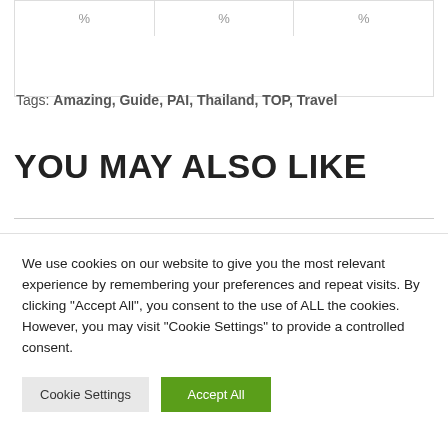| % | % | % |
| --- | --- | --- |
|  |
Tags: Amazing, Guide, PAI, Thailand, TOP, Travel
YOU MAY ALSO LIKE
We use cookies on our website to give you the most relevant experience by remembering your preferences and repeat visits. By clicking "Accept All", you consent to the use of ALL the cookies. However, you may visit "Cookie Settings" to provide a controlled consent.